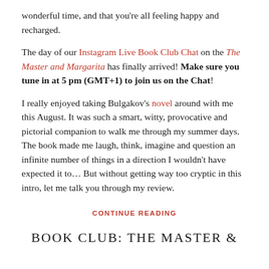wonderful time, and that you're all feeling happy and recharged.
The day of our Instagram Live Book Club Chat on the The Master and Margarita has finally arrived! Make sure you tune in at 5 pm (GMT+1) to join us on the Chat!
I really enjoyed taking Bulgakov's novel around with me this August. It was such a smart, witty, provocative and pictorial companion to walk me through my summer days. The book made me laugh, think, imagine and question an infinite number of things in a direction I wouldn't have expected it to... But without getting way too cryptic in this intro, let me talk you through my review.
CONTINUE READING
BOOK CLUB: THE MASTER &